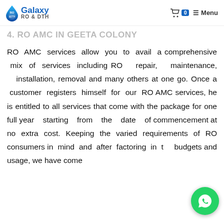Galaxy RO & DTH — Menu
4. RO AMC IN GEETA COLONY
RO AMC services allow you to avail a comprehensive mix of services including RO repair, maintenance, installation, removal and many others at one go. Once a customer registers himself for our RO AMC services, he is entitled to all services that come with the package for one full year starting from the date of commencement at no extra cost. Keeping the varied requirements of RO consumers in mind and after factoring in the budgets and usage, we have come up